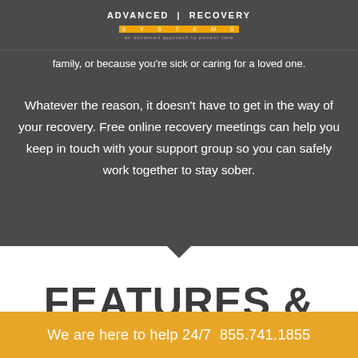ADVANCED RECOVERY SYSTEMS — an advanced approach to patient care
family, or because you're sick or caring for a loved one.
Whatever the reason, it doesn't have to get in the way of your recovery. Free online recovery meetings can help you keep in touch with your support group so you can safely work together to stay sober.
FEATURES &
We are here to help 24/7 855.741.1855